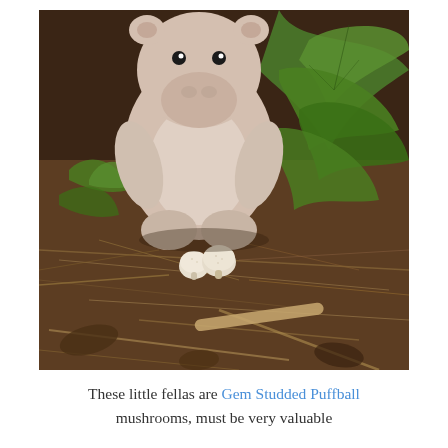[Figure (photo): A small pink stuffed hippo toy sitting on a forest floor surrounded by dry pine needles, dead leaves, twigs, and green plant leaves. In front of the toy are two tiny white round puffball mushrooms growing from the ground.]
These little fellas are Gem Studded Puffball mushrooms, must be very valuable